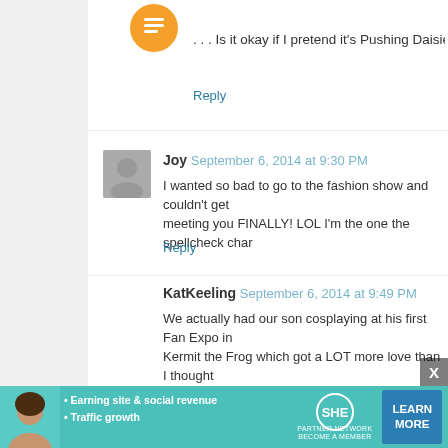. . . Is it okay if I pretend it's Pushing Daisies cosplay anyway?
Reply
Joy  September 6, 2014 at 9:30 PM
I wanted so bad to go to the fashion show and couldn't get there! I remember meeting you FINALLY! LOL I'm the one the spellcheck changes...
Reply
KatKeeling  September 6, 2014 at 9:49 PM
We actually had our son cosplaying at his first Fan Expo in a hand made Kermit the Frog which got a LOT more love than I thought it would! I did a cosplay of Hitchikers Guide and my son was Zaphod (thou... fun!
Reply
Caitlin  September 6, 2014 at 10:14 PM
Soul Eater is awesome. I'm only just getting into a relationships in it. And beautiful costumes and pictures
[Figure (other): SHE Partner Network advertisement banner with woman photo, bullet points about earning site & social revenue and traffic growth, SHE logo, and Learn More button]